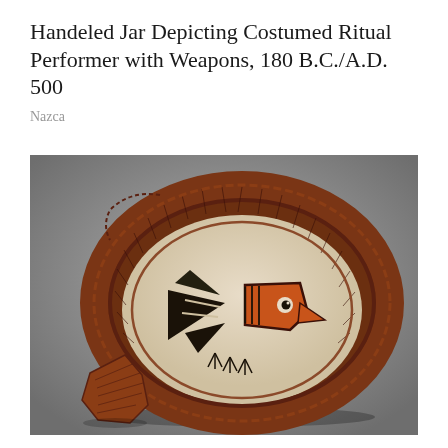Handeled Jar Depicting Costumed Ritual Performer with Weapons, 180 B.C./A.D. 500
Nazca
[Figure (photo): A Nazca ceramic handeled jar (bowl form) depicted from above, showing a painted bird or costumed ritual performer figure with black triangular shapes and an orange/red head with an eye, inside the cream-colored interior. The bowl has a dark reddish-brown rim with incised lines. A broken shard piece lies to the lower left of the bowl. The background is a neutral gray gradient.]